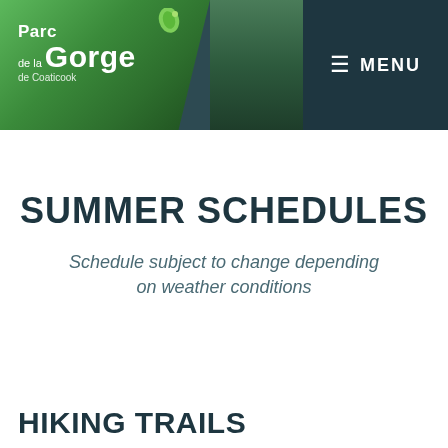[Figure (screenshot): Website header for Parc de la Gorge de Coaticook with green logo on left, dark teal photo background in center, and dark navy menu bar on right]
SUMMER SCHEDULES
Schedule subject to change depending on weather conditions
HIKING TRAILS